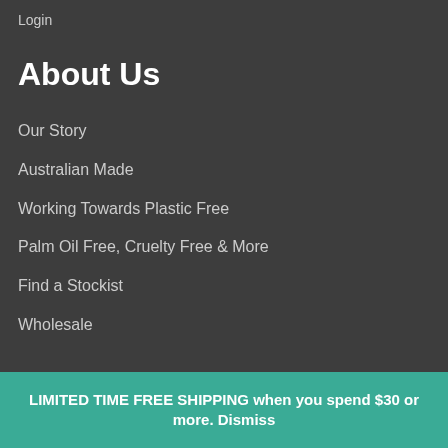Login
About Us
Our Story
Australian Made
Working Towards Plastic Free
Palm Oil Free, Cruelty Free & More
Find a Stockist
Wholesale
LIMITED TIME FREE SHIPPING when you spend $30 or more. Dismiss